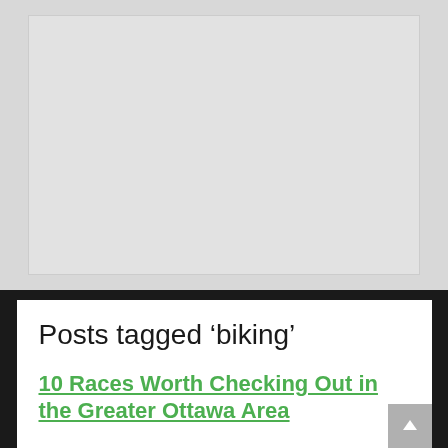[Figure (other): A light grey rectangular image placeholder area]
Posts tagged ‘biking’
10 Races Worth Checking Out in the Greater Ottawa Area